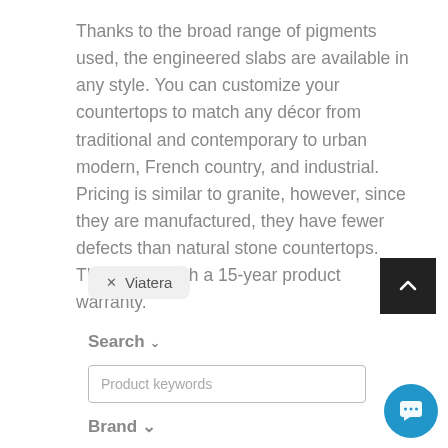Thanks to the broad range of pigments used, the engineered slabs are available in any style. You can customize your countertops to match any décor from traditional and contemporary to urban modern, French country, and industrial. Pricing is similar to granite, however, since they are manufactured, they have fewer defects than natural stone countertops. They come with a 15-year product warranty.
× Viatera
Search ∨
Product keywords
Brand ∨